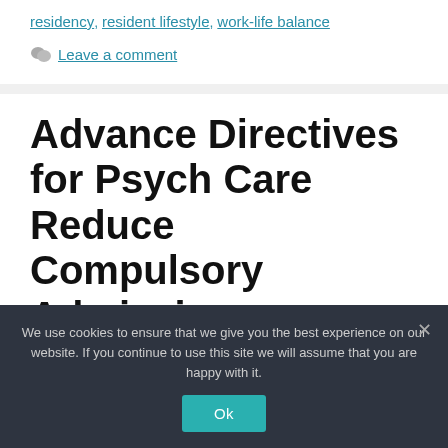residency, resident lifestyle, work-life balance
Leave a comment
Advance Directives for Psych Care Reduce Compulsory Admissions
We use cookies to ensure that we give you the best experience on our website. If you continue to use this site we will assume that you are happy with it.